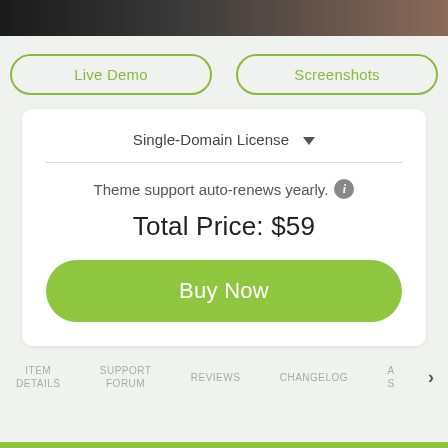[Figure (screenshot): Top dark banner image (partial photo)]
Live Demo
Screenshots
Single-Domain License
Theme support auto-renews yearly.
Total Price: $59
Buy Now
ITEM DETAILS
SUPPORT FORUM
REVIEWS
CHANGELOG
A S